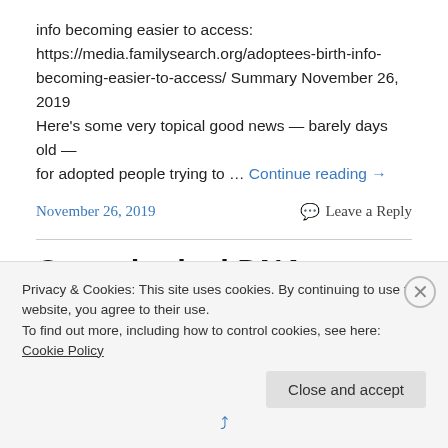info becoming easier to access: https://media.familysearch.org/adoptees-birth-info-becoming-easier-to-access/ Summary November 26, 2019 Here's some very topical good news — barely days old — for adopted people trying to … Continue reading →
November 26, 2019   Leave a Reply
Genealogical DNA Testing Companies and Current DNA
Privacy & Cookies: This site uses cookies. By continuing to use this website, you agree to their use.
To find out more, including how to control cookies, see here: Cookie Policy
Close and accept